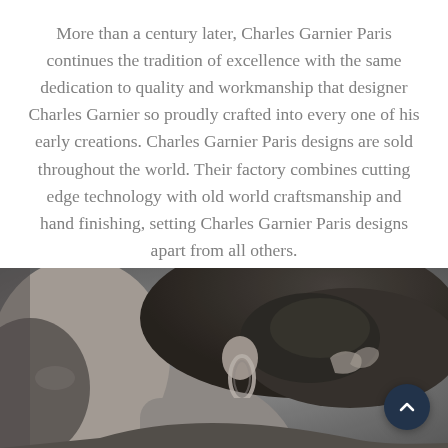More than a century later, Charles Garnier Paris continues the tradition of excellence with the same dedication to quality and workmanship that designer Charles Garnier so proudly crafted into every one of his early creations. Charles Garnier Paris designs are sold throughout the world. Their factory combines cutting edge technology with old world craftsmanship and hand finishing, setting Charles Garnier Paris designs apart from all others.
[Figure (photo): Black and white close-up photo of a woman's ear and neck area, wearing a hoop earring, with dark hair up.]